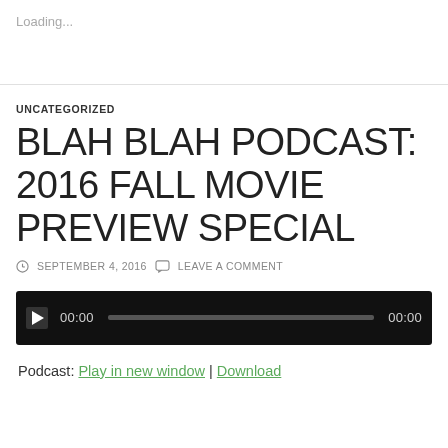Loading...
UNCATEGORIZED
BLAH BLAH PODCAST: 2016 FALL MOVIE PREVIEW SPECIAL
SEPTEMBER 4, 2016  LEAVE A COMMENT
[Figure (other): Audio player widget with play button, time display (00:00), progress bar, and end time (00:00)]
Podcast: Play in new window | Download